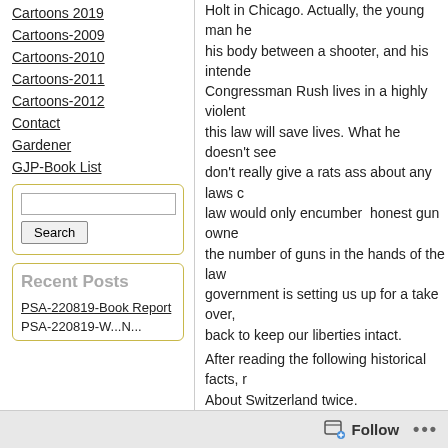Cartoons 2019
Cartoons-2009
Cartoons-2010
Cartoons-2011
Cartoons-2012
Contact
Gardener
GJP-Book List
Search (input and button)
Recent Posts
PSA-220819-Book Report
PSA-220819-W...N...
Holt in Chicago. Actually, the young man he... his body between a shooter, and his intende... Congressman Rush lives in a highly violent... this law will save lives. What he doesn't see... don't really give a rats ass about any laws c... law would only encumber  honest gun owne... the number of guns in the hands of the law... government is setting us up for a take over,... back to keep our liberties intact.
After reading the following historical facts, r... About Switzerland twice.
A LITTLE GUN HISTORY
In 1929, the Soviet Union established gun c... From 1929 to 1953,
About 20 million dissidents, unable to defer... Were rounded
Up and exterminated.
In 1911, Turkey established gun control. Fr... Armenians, unable to defend themselves, w... Exterminated.
Germany established gun control in 1939...
Follow ...